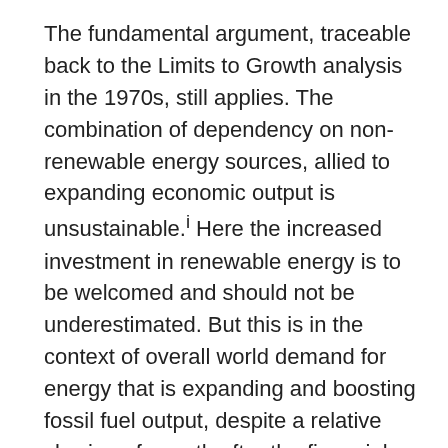The fundamental argument, traceable back to the Limits to Growth analysis in the 1970s, still applies. The combination of dependency on non-renewable energy sources, allied to expanding economic output is unsustainable.i Here the increased investment in renewable energy is to be welcomed and should not be underestimated. But this is in the context of overall world demand for energy that is expanding and boosting fossil fuel output, despite a relative slowing of growth after the financial crash of 2007-08. Opec has estimated that $10 trillion dollars of oil investment will take place up to 2040 with the Middle East remaining the major crude oil exporter.ii
The urgency of the argument has been made even more acute by the growing understanding that the disastrous environmental effects of carbon emissions on climate